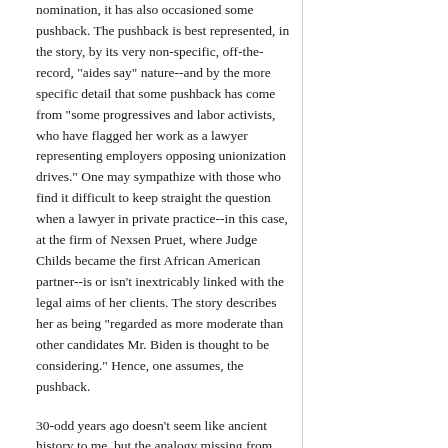nomination, it has also occasioned some pushback. The pushback is best represented, in the story, by its very non-specific, off-the-record, "aides say" nature--and by the more specific detail that some pushback has come from "some progressives and labor activists, who have flagged her work as a lawyer representing employers opposing unionization drives." One may sympathize with those who find it difficult to keep straight the question when a lawyer in private practice--in this case, at the firm of Nexsen Pruet, where Judge Childs became the first African American partner--is or isn't inextricably linked with the legal aims of her clients. The story describes her as being "regarded as more moderate than other candidates Mr. Biden is thought to be considering." Hence, one assumes, the pushback.
30-odd years ago doesn't seem like ancient history to me, but the analogy missing from the story is to former Justice David Souter, who was